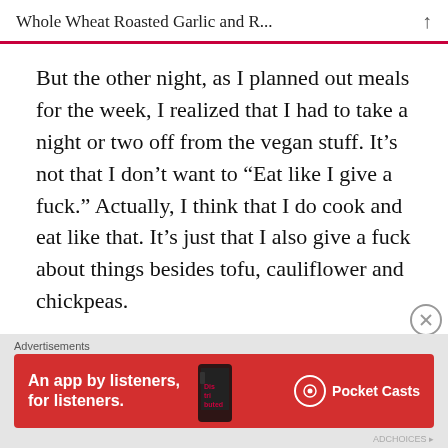Whole Wheat Roasted Garlic and R...
But the other night, as I planned out meals for the week, I realized that I had to take a night or two off from the vegan stuff. It’s not that I don’t want to “Eat like I give a fuck.” Actually, I think that I do cook and eat like that. It’s just that I also give a fuck about things besides tofu, cauliflower and chickpeas.
Plus I hadn’t made fresh pasta in a while.
[Figure (screenshot): Advertisement banner for Pocket Casts app on red background with phone image and text: An app by listeners, for listeners.]